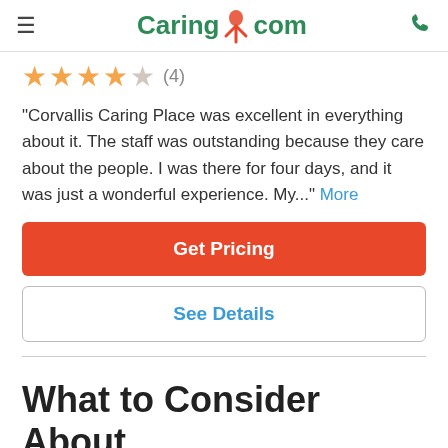Caring.com
★★★★☆ (4)
"Corvallis Caring Place was excellent in everything about it. The staff was outstanding because they care about the people. I was there for four days, and it was just a wonderful experience. My..." More
Get Pricing
See Details
What to Consider About